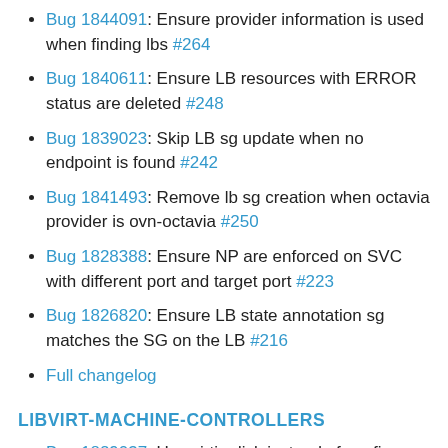Bug 1844091: Ensure provider information is used when finding lbs #264
Bug 1840611: Ensure LB resources with ERROR status are deleted #248
Bug 1839023: Skip LB sg update when no endpoint is found #242
Bug 1841493: Remove lb sg creation when octavia provider is ovn-octavia #250
Bug 1828388: Ensure NP are enforced on SVC with different port and target port #223
Bug 1826820: Ensure LB state annotation sg matches the SG on the LB #216
Full changelog
LIBVIRT-MACHINE-CONTROLLERS
Bug 1829037: Use virtio disk instead of config drive for injecting ignition for s390x/ppc64le #191
Full changelog